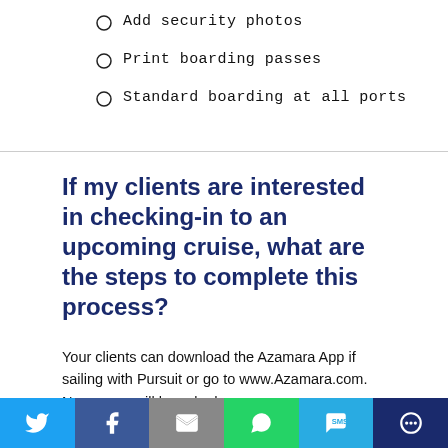Add security photos
Print boarding passes
Standard boarding at all ports
If my clients are interested in checking-in to an upcoming cruise, what are the steps to complete this process?
Your clients can download the Azamara App if sailing with Pursuit or go to www.Azamara.com. New users will be asked